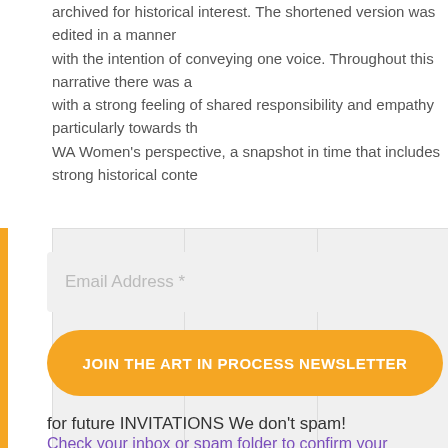archived for historical interest. The shortened version was edited in a manner with the intention of conveying one voice. Throughout this narrative there was a with a strong feeling of shared responsibility and empathy particularly towards th WA Women's perspective, a snapshot in time that includes strong historical conte
[Figure (photo): Three image placeholders displayed in a row with a light gray background and dividers between each cell]
Email Address *
JOIN THE ART IN PROCESS NEWSLETTER
for future INVITATIONS We don't spam!
Check your inbox or spam folder to confirm your